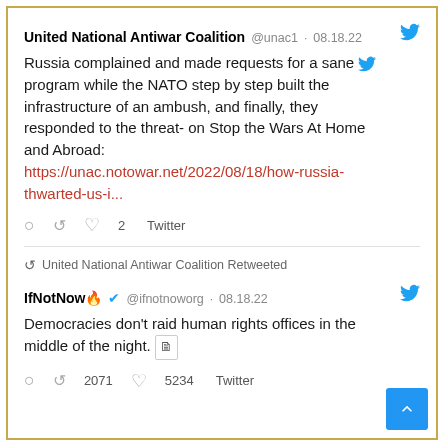United National Antiwar Coalition @unac1 · 08.18.22
Russia complained and made requests for a sane program while the NATO step by step built the infrastructure of an ambush, and finally, they responded to the threat- on Stop the Wars At Home and Abroad: https://unac.notowar.net/2022/08/18/how-russia-thwarted-us-i...
◯  ↺  ♡ 2  Twitter
↺ United National Antiwar Coalition Retweeted
IfNotNow 🔥 ✓ @ifnotnoworg · 08.18.22
Democracies don't raid human rights offices in the middle of the night. 🗎
◯  ↺ 2071  ♡ 5234  Twitter